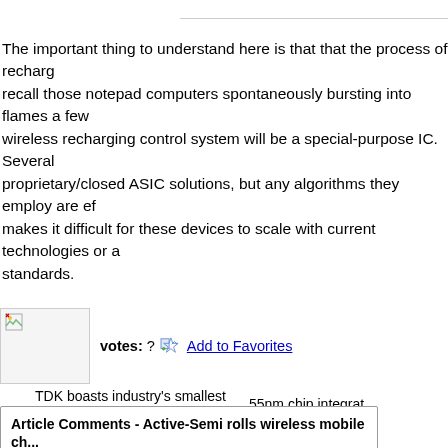The important thing to understand here is that that the process of recharging... recall those notepad computers spontaneously bursting into flames a few... wireless recharging control system will be a special-purpose IC. Several proprietary/closed ASIC solutions, but any algorithms they employ are ef... makes it difficult for these devices to scale with current technologies or a... standards.
[Figure (other): Thumbnail image placeholder with small broken image icon]
votes: ? Add to Favorites
TDK boasts industry's smallest multi...    55nm chip integrat...
Article Comments - Active-Semi rolls wireless mobile ch...
Username:    Visitor(To avoid code verification, simply login or register with us. It is fast and free!)